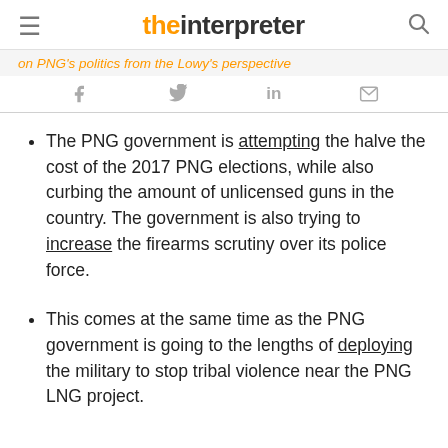the interpreter
on PNG's politics from the Lowy's perspective
The PNG government is attempting the halve the cost of the 2017 PNG elections, while also curbing the amount of unlicensed guns in the country. The government is also trying to increase the firearms scrutiny over its police force.
This comes at the same time as the PNG government is going to the lengths of deploying the military to stop tribal violence near the PNG LNG project.